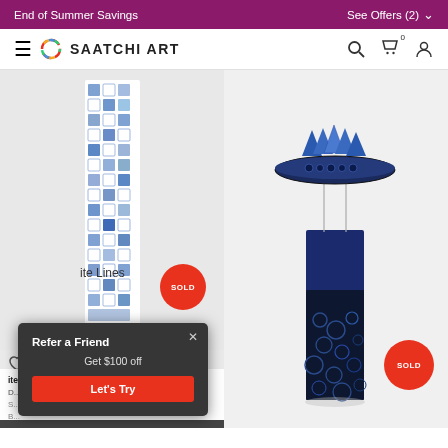End of Summer Savings    See Offers (2)
[Figure (logo): Saatchi Art navigation bar with hamburger menu, circular rainbow logo, SAATCHI ART brand name, search icon, cart icon (0), and user icon]
[Figure (photo): Left panel: Blue and white patterned ceramic tall rectangular sculpture on light background with SOLD badge in orange/red circle]
[Figure (photo): Right panel: Blue and black ceramic sculpture with pyramid shapes on a bowl atop a rectangular pedestal, on white background with SOLD badge]
ite Lines
[Figure (infographic): Dark popup overlay: Refer a Friend / Get $100 off / Let's Try button in red, with close X button]